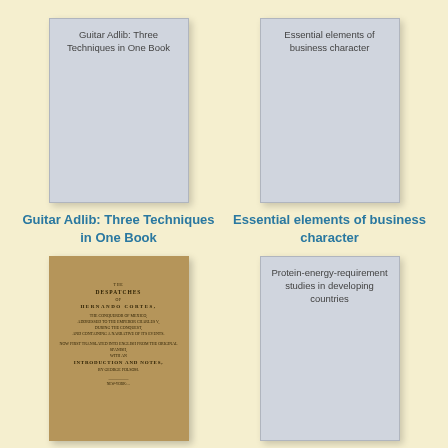[Figure (illustration): Book cover placeholder for 'Guitar Adlib: Three Techniques in One Book' — gray rectangle with title text inside]
Guitar Adlib: Three Techniques in One Book
[Figure (illustration): Book cover placeholder for 'Essential elements of business character' — gray rectangle with title text inside]
Essential elements of business character
[Figure (photo): Scanned antique book cover: 'The Despatches of Hernando Cortes, the conqueror of Mexico, addressed to the Emperor Charles V, during the conquest, and containing a narrative of its events' with introduction and notes by George Folsom]
[Figure (illustration): Book cover placeholder for 'Protein-energy-requirement studies in developing countries' — gray rectangle with title text inside]